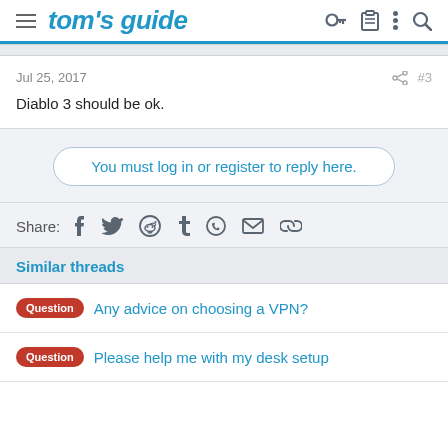tom's guide
Jul 25, 2017
#3
Diablo 3 should be ok.
You must log in or register to reply here.
Share:
Similar threads
Question  Any advice on choosing a VPN?
Question  Please help me with my desk setup